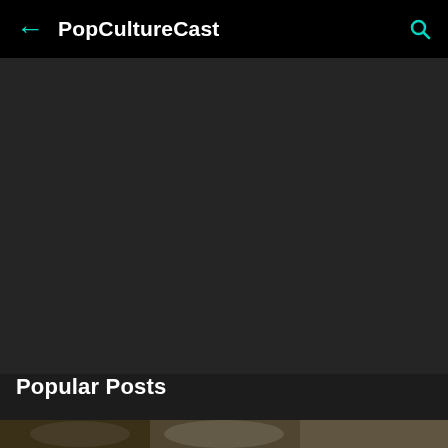← PopCultureCast 🔍
[Figure (other): Large dark/black background area filling most of the screen, representing a video or image placeholder area]
Popular Posts
[Figure (photo): Partial image strip at the bottom showing what appears to be a person, cropped and partially visible]